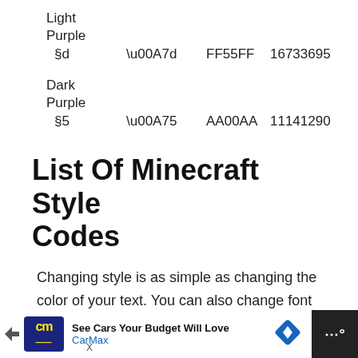| Name | Code | Unicode | Hex | Decimal |
| --- | --- | --- | --- | --- |
| Light Purple | §d | \u00A7d | FF55FF | 16733695 |
| Dark Purple | §5 | \u00A75 | AA00AA | 11141290 |
List Of Minecraft Style Codes
Changing style is as simple as changing the color of your text. You can also change font style after changing their color, which includes bold, Italic, and many other styles. Here you will find a list that has all th...